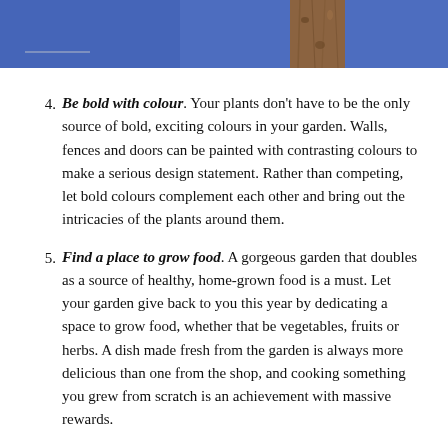[Figure (photo): Partial photo showing a blue wall with a wooden post or fence element and what appears to be a shelf or ledge, cropped at the top of the page.]
4. Be bold with colour. Your plants don't have to be the only source of bold, exciting colours in your garden. Walls, fences and doors can be painted with contrasting colours to make a serious design statement. Rather than competing, let bold colours complement each other and bring out the intricacies of the plants around them.
5. Find a place to grow food. A gorgeous garden that doubles as a source of healthy, home-grown food is a must. Let your garden give back to you this year by dedicating a space to grow food, whether that be vegetables, fruits or herbs. A dish made fresh from the garden is always more delicious than one from the shop, and cooking something you grew from scratch is an achievement with massive rewards.